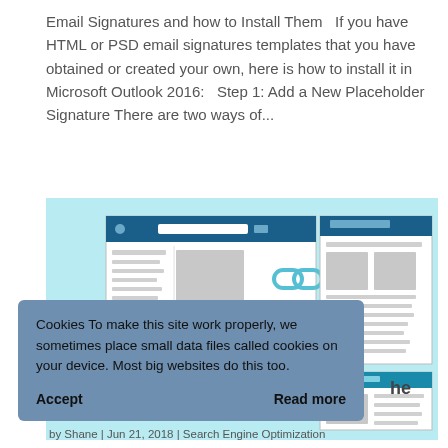Email Signatures and how to Install Them   If you have HTML or PSD email signatures templates that you have obtained or created your own, here is how to install it in Microsoft Outlook 2016:   Step 1: Add a New Placeholder Signature There are two ways of...
[Figure (illustration): Screenshot illustration of a web browser with email/document interface showing two browser windows and a link icon, on a light blue background]
Cookies To make this site work properly, we sometimes place small data files called cookies on your device. Most big websites do this too.
Accept     Read more
he
Difference:
by Shane | Jun 21, 2018 | Search Engine Optimization